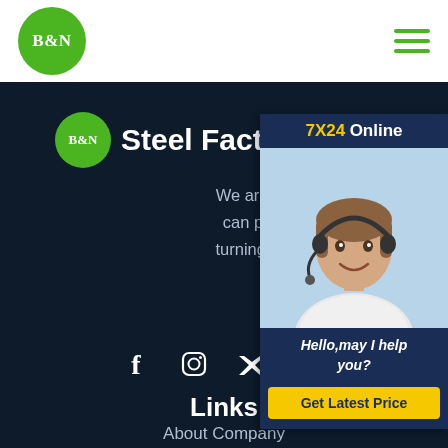[Figure (logo): B&N green circle logo in top left header]
[Figure (illustration): Hamburger menu icon with three green horizontal lines]
B&N Steel Factory
We are a comprehensive machining service, can provide a wide product range of custom turning, Bevel, Bending, Drilling and other services.
[Figure (illustration): Social media icons: Facebook, Instagram, Twitter, Skype]
Links
About Company
[Figure (illustration): 7X24 Online chat popup with headset woman photo, Hello may I help you text, and Get Latest Price button]